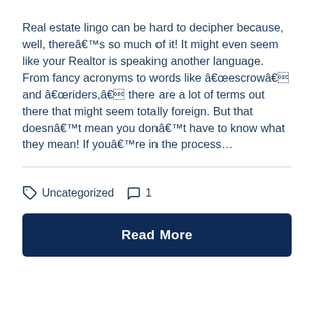Real estate lingo can be hard to decipher because, well, thereâ€™s so much of it! It might even seem like your Realtor is speaking another language. From fancy acronyms to words like â€œescrowâ€ and â€œriders,â€ there are a lot of terms out there that might seem totally foreign. But that doesnâ€™t mean you donâ€™t have to know what they mean! If youâ€™re in the process…
Uncategorized   1
Read More